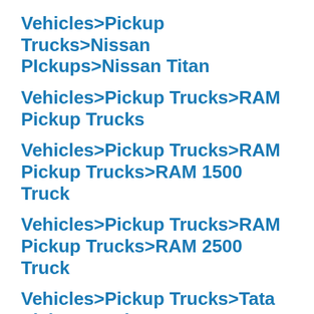Vehicles>Pickup Trucks>Nissan PIckups>Nissan Titan
Vehicles>Pickup Trucks>RAM Pickup Trucks
Vehicles>Pickup Trucks>RAM Pickup Trucks>RAM 1500 Truck
Vehicles>Pickup Trucks>RAM Pickup Trucks>RAM 2500 Truck
Vehicles>Pickup Trucks>Tata Pickup Trucks>Tata Xenon>Tata Xenon Price List
Vehicles>Pickup Trucks>Toyota Pickup Trucks